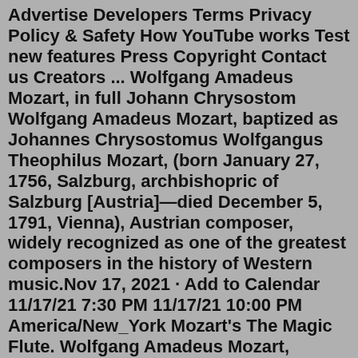Advertise Developers Terms Privacy Policy & Safety How YouTube works Test new features Press Copyright Contact us Creators ... Wolfgang Amadeus Mozart, in full Johann Chrysostom Wolfgang Amadeus Mozart, baptized as Johannes Chrysostomus Wolfgangus Theophilus Mozart, (born January 27, 1756, Salzburg, archbishopric of Salzburg [Austria]—died December 5, 1791, Vienna), Austrian composer, widely recognized as one of the greatest composers in the history of Western music.Nov 17, 2021 · Add to Calendar 11/17/21 7:30 PM 11/17/21 10:00 PM America/New_York Mozart's The Magic Flute. Wolfgang Amadeus Mozart, composer Emanuel Schikaneder, librettist Craig Kier and Jonathan King, conductors Amanda Consol, director. This event has multiple in-person performance dates from November 17–21. 1 Appearance in the show. 2 Songs from Baby Einstein NOT in the show. 3 Episode Composed sheet music. 3.1 Horn Concerto Number 2 In Eb Major. 3.2 Serenade Number 13 For Strings In G Major K. 525